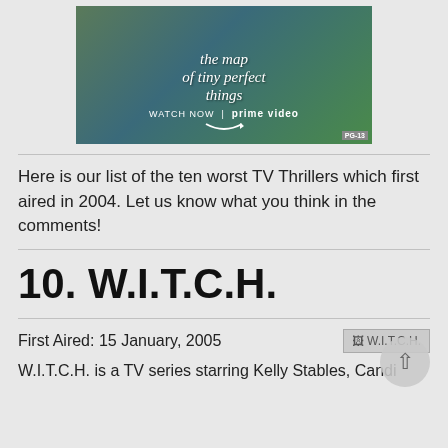[Figure (illustration): Amazon Prime Video advertisement for 'The Map of Tiny Perfect Things' showing two people walking, with text 'the map of tiny perfect things', 'WATCH NOW | prime video' and 'PG-13' rating badge]
Here is our list of the ten worst TV Thrillers which first aired in 2004. Let us know what you think in the comments!
10. W.I.T.C.H.
First Aired: 15 January, 2005
[Figure (illustration): W.I.T.C.H. broken image placeholder]
W.I.T.C.H. is a TV series starring Kelly Stables, Candi